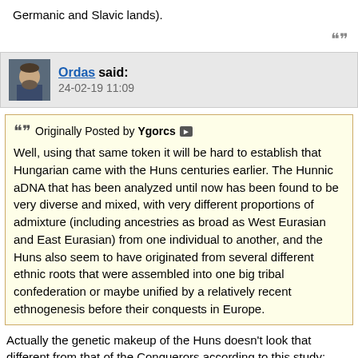Germanic and Slavic lands).
Ordas said:
24-02-19 11:09
Originally Posted by Ygorcs
Well, using that same token it will be hard to establish that Hungarian came with the Huns centuries earlier. The Hunnic aDNA that has been analyzed until now has been found to be very diverse and mixed, with very different proportions of admixture (including ancestries as broad as West Eurasian and East Eurasian) from one individual to another, and the Huns also seem to have originated from several different ethnic roots that were assembled into one big tribal confederation or maybe unified by a relatively recent ethnogenesis before their conquests in Europe.
Actually the genetic makeup of the Huns doesn't look that different from that of the Conquerors according to this study: basicially a Central Asian population with a mix of West Eurasian and East Eurasian lineages. Both of them